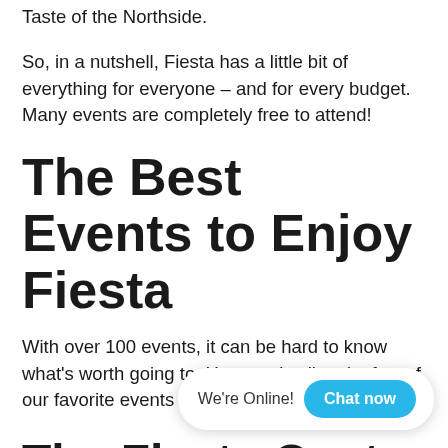Taste of the Northside.
So, in a nutshell, Fiesta has a little bit of everything for everyone – and for every budget. Many events are completely free to attend!
The Best Events to Enjoy Fiesta
With over 100 events, it can be hard to know what's worth going to. Here, we've listed a few of our favorite events to offer up some suggestions.
The Fiesta Oyster Bake
Start out your fiesta with the Fiesta Oyster Bake. Typically the opening weekend of